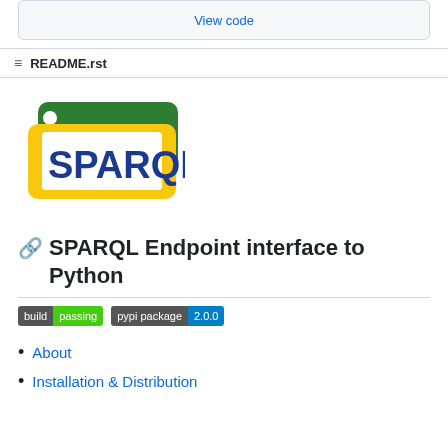View code
README.rst
[Figure (logo): SPARQL logo: green folder/tab shape with yellow bracket shapes and blue text 'SPARQL']
SPARQL Endpoint interface to Python
[Figure (infographic): Build badges: 'build passing' (grey/green) and 'pypi package 2.0.0' (grey/blue)]
About
Installation & Distribution